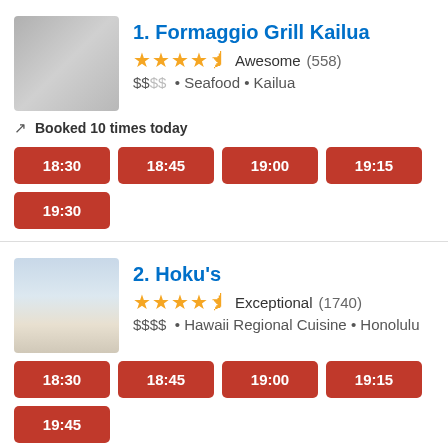1. Formaggio Grill Kailua
★★★★½ Awesome (558)
$$•• • Seafood • Kailua
Booked 10 times today
18:30
18:45
19:00
19:15
19:30
2. Hoku's
★★★★½ Exceptional (1740)
$$$$ • Hawaii Regional Cuisine • Honolulu
18:30
18:45
19:00
19:15
19:45